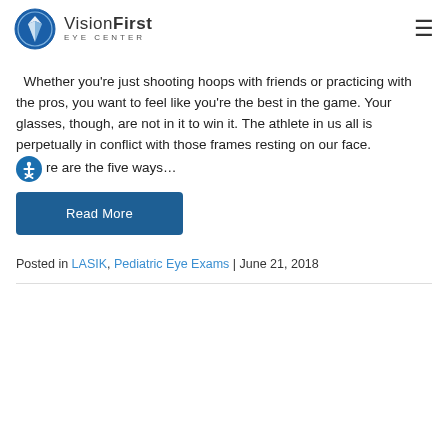VisionFirst Eye Center
Whether you're just shooting hoops with friends or practicing with the pros, you want to feel like you're the best in the game. Your glasses, though, are not in it to win it. The athlete in us all is perpetually in conflict with those frames resting on our face. re are the five ways…
Read More
Posted in LASIK, Pediatric Eye Exams | June 21, 2018